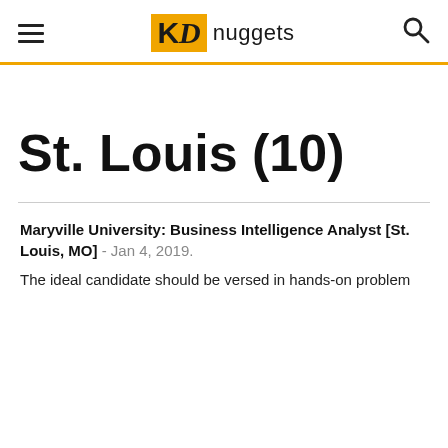KDnuggets
St. Louis (10)
Maryville University: Business Intelligence Analyst [St. Louis, MO] - Jan 4, 2019.
The ideal candidate should be versed in hands-on problem